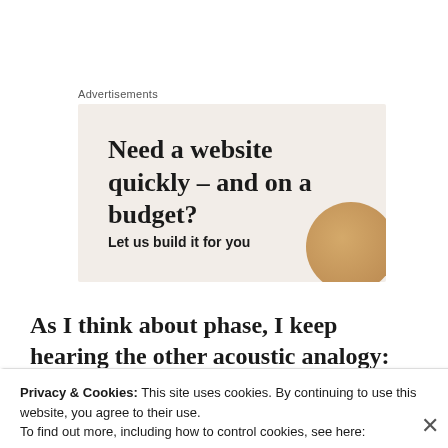Advertisements
[Figure (illustration): Advertisement banner with beige background reading 'Need a website quickly – and on a budget? Let us build it for you' with a decorative gold circular image on the right side.]
As I think about phase, I keep hearing the other acoustic analogy: the tuning of sine
Privacy & Cookies: This site uses cookies. By continuing to use this website, you agree to their use.
To find out more, including how to control cookies, see here:
Cookie Policy
Close and accept